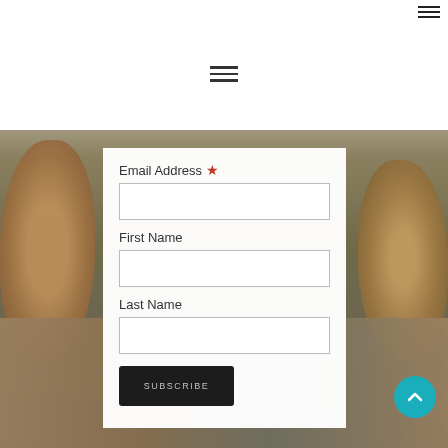Navigation menu icon (hamburger) top right
[Figure (screenshot): Hamburger menu icon centered in white header bar]
Email Address *
[Figure (other): Email Address input field (empty text box)]
First Name
[Figure (other): First Name input field (empty text box)]
Last Name
[Figure (other): Last Name input field (empty text box)]
[Figure (other): SUBSCRIBE button (dark/black background, white uppercase text)]
[Figure (photo): Background food/cookies photography with cookies on left and right, bottom area shows baked goods on a table, olive/tan toned background]
[Figure (other): Teal circular scroll-to-top button with upward chevron arrow, bottom right corner]